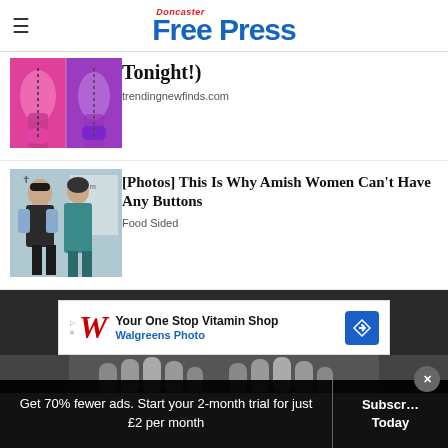Doncaster Free Press
[Figure (photo): Illustration of body figure with dotted lines suggesting transformation]
Tonight!)
trendingnewfinds.com
[Figure (photo): Photo of an Amish man and woman standing together]
[Photos] This Is Why Amish Women Can't Have Any Buttons
Food Sided
[Figure (screenshot): Walgreens Photo advertisement: Your One Stop Vitamin Shop]
Get 70% fewer ads. Start your 2-month trial for just £2 per month
Subscribe Today